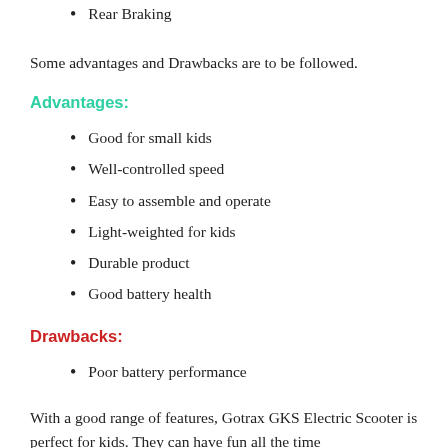Rear Braking
Some advantages and Drawbacks are to be followed.
Advantages:
Good for small kids
Well-controlled speed
Easy to assemble and operate
Light-weighted for kids
Durable product
Good battery health
Drawbacks:
Poor battery performance
With a good range of features, Gotrax GKS Electric Scooter is perfect for kids. They can have fun all the time